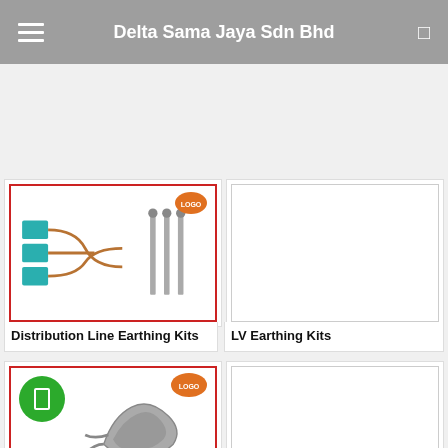Delta Sama Jaya Sdn Bhd
[Figure (photo): Distribution Line Earthing Kits product image with red border, teal colored clamps and copper wiring components, orange logo badge in top right]
Distribution Line Earthing Kits
[Figure (photo): LV Earthing Kits product image placeholder - blank white box with light border]
LV Earthing Kits
[Figure (photo): Second product row left - image with red border showing earthing grip tool, green circle play button overlay, orange logo badge top right]
[Figure (photo): Second product row right - blank white placeholder image with light border]